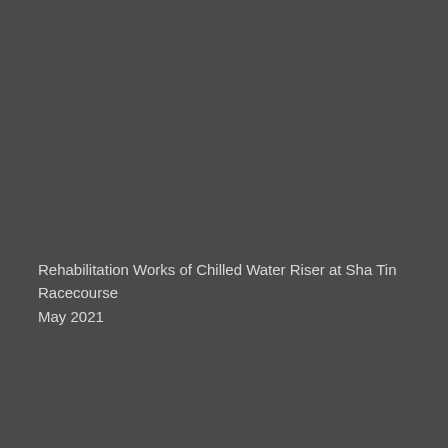Rehabilitation Works of Chilled Water Riser at Sha Tin Racecourse
May 2021